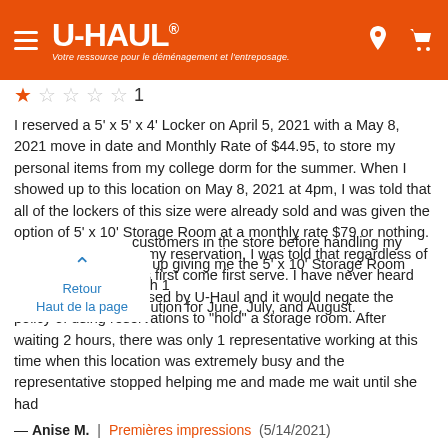U-HAUL — Votre ressource pour le déménagement et l'entreposage.
★☆☆☆☆ 1
I reserved a 5' x 5' x 4' Locker on April 5, 2021 with a May 8, 2021 move in date and Monthly Rate of $44.95, to store my personal items from my college dorm for the summer. When I showed up to this location on May 8, 2021 at 4pm, I was told that all of the lockers of this size were already sold and was given the option of 5' x 10' Storage Room at a monthly rate $79 or nothing. When I asked about my reservation, I was told that regardless of the reservation it was first come first serve. I have never heard that this policy was used by U-Haul and it would negate the policy of using reservations to "hold" a storage room. After waiting 2 hours, there was only 1 representative working at this time when this location was extremely busy and the representative stopped helping me and made me wait until she had [other] customers in the store before handling my [issue. She end]ed up giving me the 5' x 10' Storage Room with 1 [month free as a] solution for June, July, and August.
— Anise M. | Premières impressions (5/14/2021)